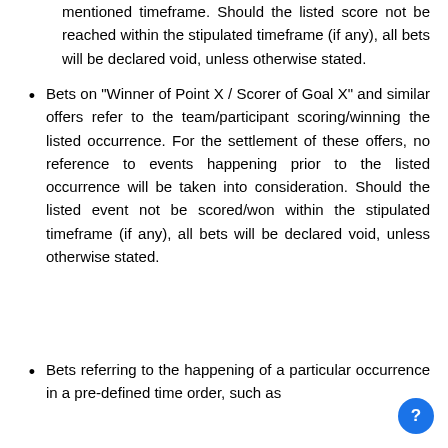mentioned timeframe. Should the listed score not be reached within the stipulated timeframe (if any), all bets will be declared void, unless otherwise stated.
Bets on "Winner of Point X / Scorer of Goal X" and similar offers refer to the team/participant scoring/winning the listed occurrence. For the settlement of these offers, no reference to events happening prior to the listed occurrence will be taken into consideration. Should the listed event not be scored/won within the stipulated timeframe (if any), all bets will be declared void, unless otherwise stated.
Bets referring to the happening of a particular occurrence in a pre-defined time order, such as